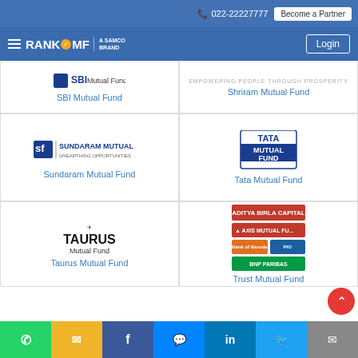022-22227777  Become a Partner
[Figure (logo): RANKOMF - A SAMCO BRAND navigation bar with Login button]
[Figure (logo): SBI Mutual Fund logo card]
SBI Mutual Fund
[Figure (logo): Shriram Mutual Fund logo card - EMPOWERING PEOPLE THROUGH PROSPERITY]
Shriram Mutual Fund
[Figure (logo): Sundaram Mutual - Unearthing Opportunities logo]
Sundaram Mutual Fund
[Figure (logo): Tata Mutual Fund logo - blue square logo]
Tata Mutual Fund
[Figure (logo): Taurus Mutual Fund logo]
Taurus Mutual Fund
[Figure (logo): Trust Mutual Fund card showing Aditya Birla Capital, Axis Mutual Fund, Bank of Baroda, PIO, BNP Paribas logos]
Trust Mutual Fund
Social sharing bar: WhatsApp, SMS, Facebook, Messenger, LinkedIn, Twitter, Email